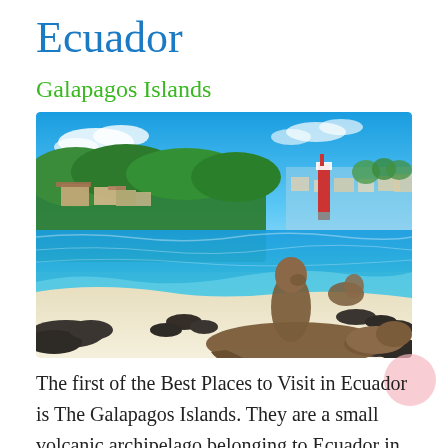Ecuador
Galapagos Islands
[Figure (photo): Coastal beach scene in the Galapagos Islands with sea lions resting on white sand, turquoise water, rocky shoreline, lush green vegetation, buildings, and a red-and-white lighthouse in the background under a bright blue sky.]
The first of the Best Places to Visit in Ecuador is The Galapagos Islands. They are a small volcanic archipelago belonging to Ecuador in